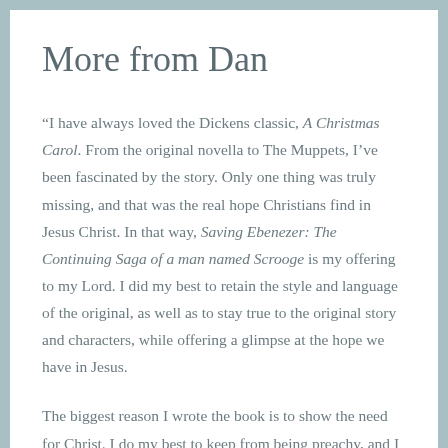More from Dan
“I have always loved the Dickens classic, A Christmas Carol. From the original novella to The Muppets, I’ve been fascinated by the story. Only one thing was truly missing, and that was the real hope Christians find in Jesus Christ. In that way, Saving Ebenezer: The Continuing Saga of a man named Scrooge is my offering to my Lord. I did my best to retain the style and language of the original, as well as to stay true to the original story and characters, while offering a glimpse at the hope we have in Jesus.
The biggest reason I wrote the book is to show the need for Christ. I do my best to keep from being preachy, and I